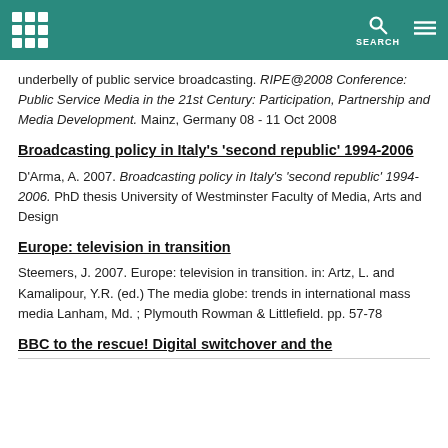SEARCH
underbelly of public service broadcasting. RIPE@2008 Conference: Public Service Media in the 21st Century: Participation, Partnership and Media Development. Mainz, Germany 08 - 11 Oct 2008
Broadcasting policy in Italy's 'second republic' 1994-2006
D'Arma, A. 2007. Broadcasting policy in Italy's 'second republic' 1994-2006. PhD thesis University of Westminster Faculty of Media, Arts and Design
Europe: television in transition
Steemers, J. 2007. Europe: television in transition. in: Artz, L. and Kamalipour, Y.R. (ed.) The media globe: trends in international mass media Lanham, Md. ; Plymouth Rowman & Littlefield. pp. 57-78
BBC to the rescue! Digital switchover and the